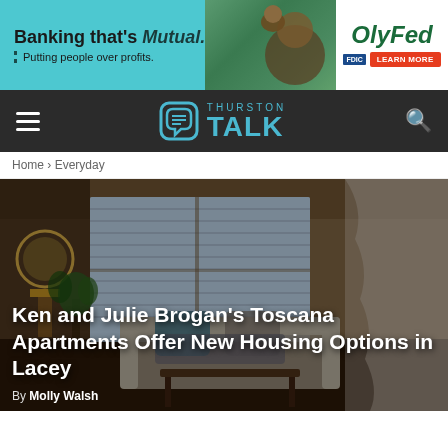[Figure (other): OlyFed bank advertisement banner with teal background. Text reads 'Banking that's Mutual. Putting people over profits.' with OlyFed logo, FDIC badge, and Learn More button. Photo of parent and child on right side.]
Thurston TALK
Home › Everyday
[Figure (photo): Interior photo of an apartment living room with a sofa, windows with blinds, indoor plant, decorative mirror, lamp, and sheer curtains on right side. Dark/moody lighting.]
Ken and Julie Brogan's Toscana Apartments Offer New Housing Options in Lacey
By Molly Walsh